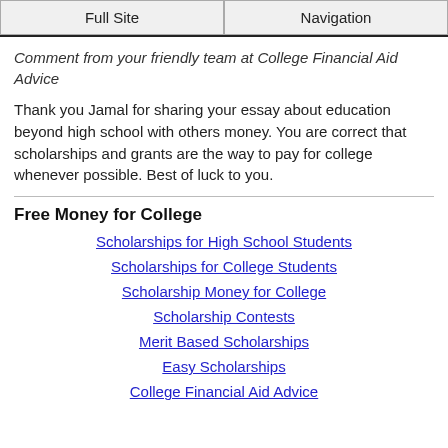Full Site | Navigation
Comment from your friendly team at College Financial Aid Advice
Thank you Jamal for sharing your essay about education beyond high school with others money. You are correct that scholarships and grants are the way to pay for college whenever possible. Best of luck to you.
Free Money for College
Scholarships for High School Students
Scholarships for College Students
Scholarship Money for College
Scholarship Contests
Merit Based Scholarships
Easy Scholarships
College Financial Aid Advice